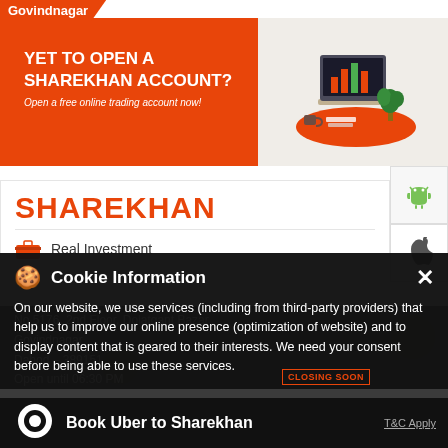Govindnagar
[Figure (screenshot): Orange promotional banner for Sharekhan with text 'YET TO OPEN A SHAREKHAN ACCOUNT? Open a free online trading account now!' and an illustration of a laptop on a desk on the right side.]
SHAREKHAN
Real Investment
No 5176, 2nd Floor, Dolatgant Bazar
Govindnagar
Dahod – 389151
Cookie Information
On our website, we use services (including from third-party providers) that help us to improve our online presence (optimization of website) and to display content that is geared to their interests. We need your consent before being able to use these services.
Open until 06:30 PM
CLOSING SOON
Book Uber to Sharekhan
T&C Apply